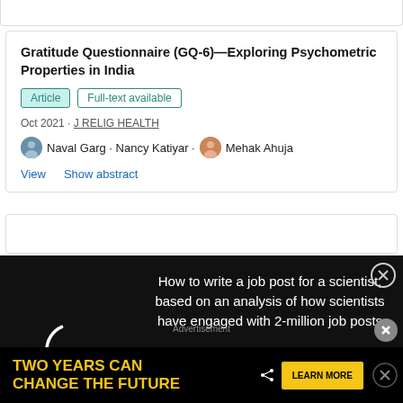Gratitude Questionnaire (GQ-6)—Exploring Psychometric Properties in India
Article · Full-text available
Oct 2021 · J RELIG HEALTH
Naval Garg · Nancy Katiyar · Mehak Ahuja
View  Show abstract
[Figure (other): Loading spinner circle on black ad overlay background with text: How to write a job post for a scientist, based on an analysis of how scientists have engaged with 2-million job posts]
that relational fulfillment, or satisfaction within one's relationship, mediated the relation between gratitude and physical symptoms
Advertisement
[Figure (other): Bottom banner advertisement: TWO YEARS CAN CHANGE THE FUTURE with LEARN MORE button]